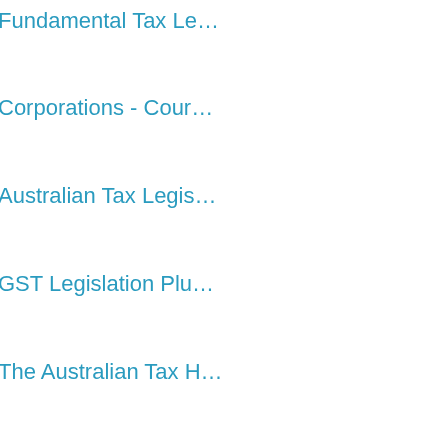Fundamental Tax Le…
Corporations - Cour…
Australian Tax Legis…
GST Legislation Plu…
The Australian Tax H…
Principles of Taxatio…
Australian Taxation
Principles of Contra…
Australian CGT Han…
Detectives' Handbo…
Sentencing in Austr…
Understanding Com…
Defamation Law, 1s…